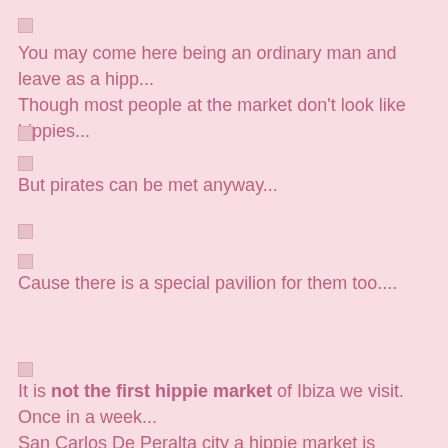[Figure (other): Small light pink/white square icon]
You may come here being an ordinary man and leave as a hipp... Though most people at the market don't look like hippies...
[Figure (other): Small light pink/white square icon]
[Figure (other): Small light pink/white square icon]
But pirates can be met anyway...
[Figure (other): Small light pink/white square icon]
[Figure (other): Small light pink/white square icon]
Cause there is a special pavilion for them too....
[Figure (other): Small light pink/white square icon]
It is not the first hippie market of Ibiza we visit. Once in a week in San Carlos De Peralta city a hippie market is arranged. Maybe time ago here gowed guys in bright clothes offered their handi... marijuana smell could be felt around. But today the market soo... resembles a tourist attraction, a lot of Indonesian stuff is sold. N...